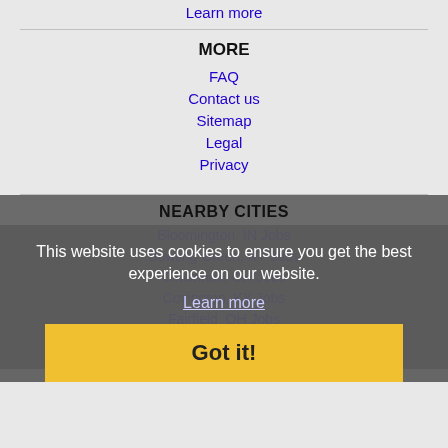Learn more
MORE
FAQ
Contact us
Sitemap
Legal
Privacy
NEARBY CITIES
Bloomington, IN Jobs
Bowling Green, KY Jobs
Cincinnati, OH Jobs
Covington, KY Jobs
Fairfield, OH Jobs
Lexington, KY Jobs
Owensboro, KY Jobs
This website uses cookies to ensure you get the best experience on our website.
Learn more
Got it!